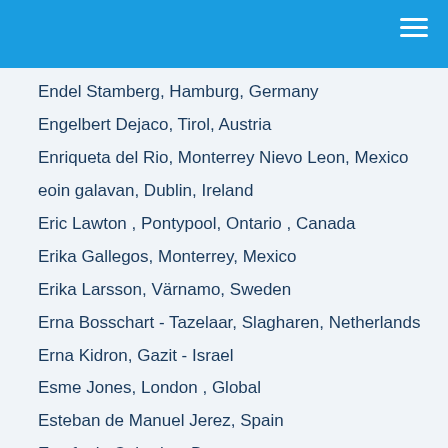Endel Stamberg, Hamburg, Germany
Engelbert Dejaco, Tirol, Austria
Enriqueta del Rio, Monterrey Nievo Leon, Mexico
eoin galavan, Dublin, Ireland
Eric Lawton , Pontypool, Ontario , Canada
Erika Gallegos, Monterrey, Mexico
Erika Larsson, Värnamo, Sweden
Erna Bosschart - Tazelaar, Slagharen, Netherlands
Erna Kidron, Gazit - Israel
Esme Jones, London , Global
Esteban de Manuel Jerez, Spain
Estefania Cabrales, Bogota
Estela Ghahremani, Klosterneuburg, Austria
Estelle Dollfus-Gates , Australia